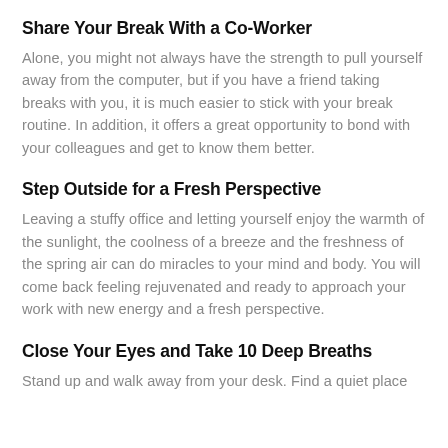Share Your Break With a Co-Worker
Alone, you might not always have the strength to pull yourself away from the computer, but if you have a friend taking breaks with you, it is much easier to stick with your break routine. In addition, it offers a great opportunity to bond with your colleagues and get to know them better.
Step Outside for a Fresh Perspective
Leaving a stuffy office and letting yourself enjoy the warmth of the sunlight, the coolness of a breeze and the freshness of the spring air can do miracles to your mind and body. You will come back feeling rejuvenated and ready to approach your work with new energy and a fresh perspective.
Close Your Eyes and Take 10 Deep Breaths
Stand up and walk away from your desk. Find a quiet place